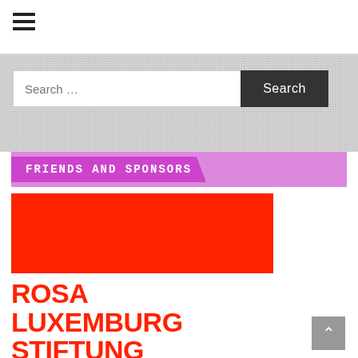[Figure (screenshot): Hamburger menu icon (three horizontal lines) in top-left of white header bar]
[Figure (screenshot): Gray textured background band with search input field and Search button]
FRIENDS AND SPONSORS
[Figure (illustration): Solid red rectangular image block (logo placeholder for Rosa Luxemburg Stiftung)]
ROSA LUXEMBURG STIFTUNG